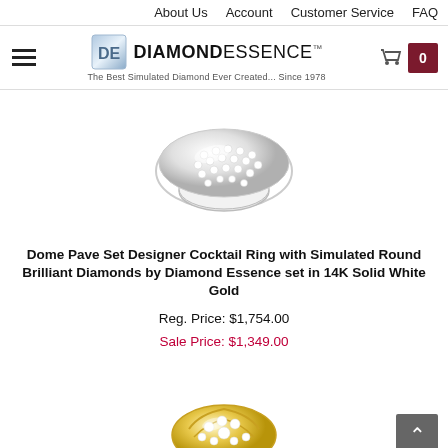About Us   Account   Customer Service   FAQ
[Figure (logo): Diamond Essence logo with hamburger menu and cart icon showing 0 items]
[Figure (photo): A dome pave set cocktail ring with simulated round brilliant diamonds set in white gold, shown from above on white background]
Dome Pave Set Designer Cocktail Ring with Simulated Round Brilliant Diamonds by Diamond Essence set in 14K Solid White Gold
Reg. Price: $1,754.00
Sale Price: $1,349.00
[Figure (photo): A gold cocktail ring with simulated diamonds in a pave setting, partially visible at the bottom of the page]